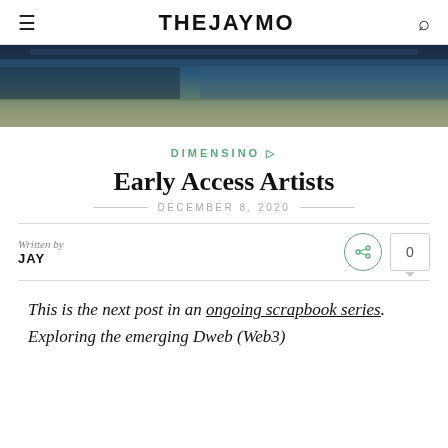THEJAYMO
[Figure (photo): Partially visible photo of electronic equipment or computer hardware, dark tones with teal/blue coloring]
DIMENSINO ▷
Early Access Artists
DECEMBER 8, 2020
Written by
JAY
This is the next post in an ongoing scrapbook series. Exploring the emerging Dweb (Web3)